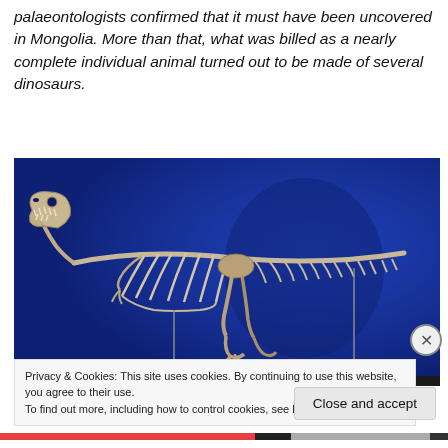palaeontologists confirmed that it must have been uncovered in Mongolia. More than that, what was billed as a nearly complete individual animal turned out to be made of several dinosaurs.
[Figure (photo): A mounted dinosaur skeleton (theropod, resembling a tyrannosaur) posed on metal supports against a bright blue background, viewed from the left side showing full skeleton from head to tail.]
Privacy & Cookies: This site uses cookies. By continuing to use this website, you agree to their use.
To find out more, including how to control cookies, see here: Cookie Policy